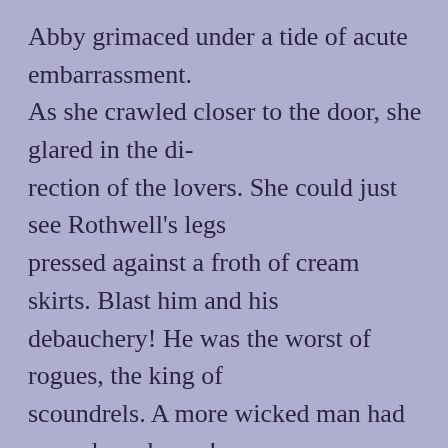Abby grimaced under a tide of acute embarrassment. As she crawled closer to the door, she glared in the di-rection of the lovers. She could just see Rothwell's legs pressed against a froth of cream skirts. Blast him and his debauchery! He was the worst of rogues, the king of scoundrels. A more wicked man had never been born–! Too caught up in remonstrations to watch where she